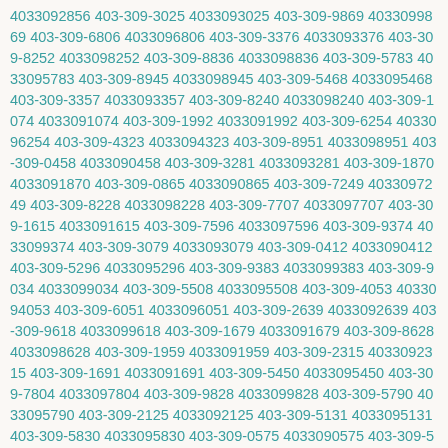4033092856 403-309-3025 4033093025 403-309-9869 4033099869 403-309-6806 4033096806 403-309-3376 4033093376 403-309-8252 4033098252 403-309-8836 4033098836 403-309-5783 4033095783 403-309-8945 4033098945 403-309-5468 4033095468 403-309-3357 4033093357 403-309-8240 4033098240 403-309-1074 4033091074 403-309-1992 4033091992 403-309-6254 4033096254 403-309-4323 4033094323 403-309-8951 4033098951 403-309-0458 4033090458 403-309-3281 4033093281 403-309-1870 4033091870 403-309-0865 4033090865 403-309-7249 4033097249 403-309-8228 4033098228 403-309-7707 4033097707 403-309-1615 4033091615 403-309-7596 4033097596 403-309-9374 4033099374 403-309-3079 4033093079 403-309-0412 4033090412 403-309-5296 4033095296 403-309-9383 4033099383 403-309-9034 4033099034 403-309-5508 4033095508 403-309-4053 4033094053 403-309-6051 4033096051 403-309-2639 4033092639 403-309-9618 4033099618 403-309-1679 4033091679 403-309-8628 4033098628 403-309-1959 4033091959 403-309-2315 4033092315 403-309-1691 4033091691 403-309-5450 4033095450 403-309-7804 4033097804 403-309-9828 4033099828 403-309-5790 4033095790 403-309-2125 4033092125 403-309-5131 4033095131 403-309-5830 4033095830 403-309-0575 4033090575 403-309-5992 4033095992 403-309-4500 4033094500 403-309-4330 4033094330 403-309-8281 4033098281 403-309-8040 4033098040 403-309-0736 4033090736 403-309-1723 4033091723 403-309-6017 4033096017 403-309-8997 4033098997 403-309-8938 4033098938 403-309-6707 4033096707 403-309-2447 4033092447 403-309-2518 4033092518 403-309-4790 4033094790 403-309-7819 4033097819 403-309-3032 4033093032 403-309-6372 4033096372 403-309-0997 4033090997 403-